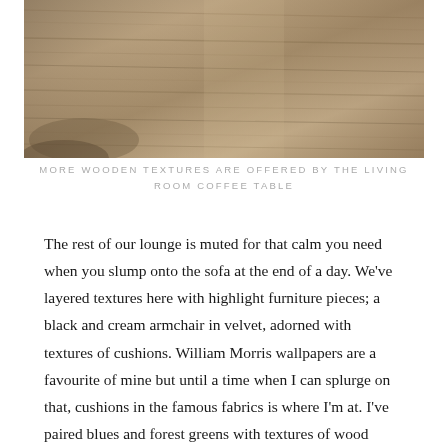[Figure (photo): Close-up photograph of wooden texture surface with a warm brown/tan grain pattern, showing part of a wooden coffee table or surface.]
MORE WOODEN TEXTURES ARE OFFERED BY THE LIVING ROOM COFFEE TABLE
The rest of our lounge is muted for that calm you need when you slump onto the sofa at the end of a day. We've layered textures here with highlight furniture pieces; a black and cream armchair in velvet, adorned with textures of cushions. William Morris wallpapers are a favourite of mine but until a time when I can splurge on that, cushions in the famous fabrics is where I'm at. I've paired blues and forest greens with textures of wood found in the coffee table and media unit, not from a matching set, I prefer the natural blending of investing in one